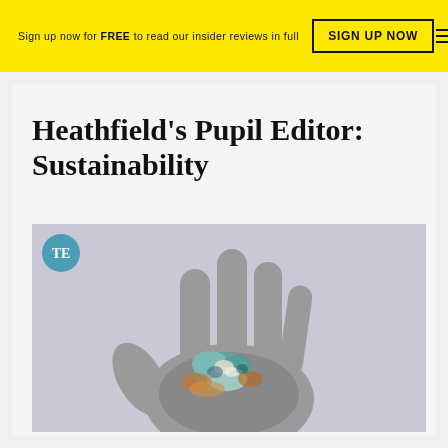Sign up now for FREE to read our insider reviews in full  SIGN UP NOW
Heathfield's Pupil Editor: Sustainability
[Figure (photo): Close-up photo of a ceramic or sculpted hand with colorful mineral/floral growth on the palm, set against a pale lavender background. A teal circular badge with 'TE' initials is in the upper left corner of the image.]